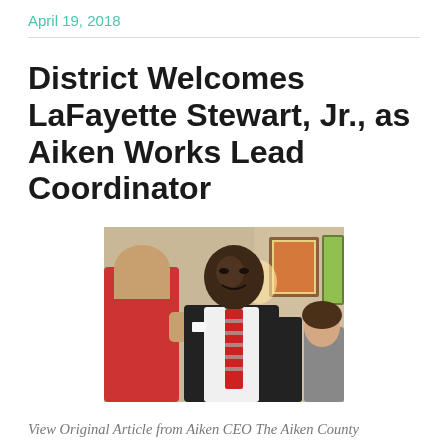April 19, 2018
District Welcomes LaFayette Stewart, Jr., as Aiken Works Lead Coordinator
[Figure (photo): A man in a black vest and striped red tie speaking with another person in a red shirt, with framed artwork visible in the background.]
View Original Article from Aiken CEO The Aiken County